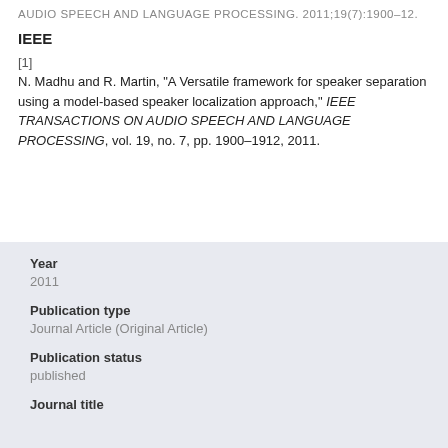AUDIO SPEECH AND LANGUAGE PROCESSING. 2011;19(7):1900–12.
IEEE
[1]
N. Madhu and R. Martin, "A Versatile framework for speaker separation using a model-based speaker localization approach," IEEE TRANSACTIONS ON AUDIO SPEECH AND LANGUAGE PROCESSING, vol. 19, no. 7, pp. 1900–1912, 2011.
Year
2011
Publication type
Journal Article (Original Article)
Publication status
published
Journal title